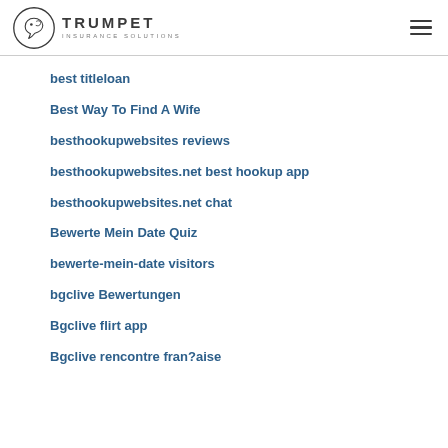TRUMPET INSURANCE SOLUTIONS
best titleloan
Best Way To Find A Wife
besthookupwebsites reviews
besthookupwebsites.net best hookup app
besthookupwebsites.net chat
Bewerte Mein Date Quiz
bewerte-mein-date visitors
bgclive Bewertungen
Bgclive flirt app
Bgclive rencontre fran?aise